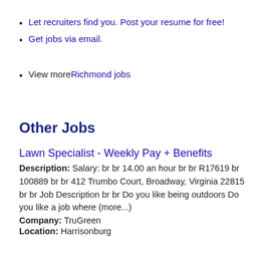Let recruiters find you. Post your resume for free!
Get jobs via email.
View more Richmond jobs
Other Jobs
Lawn Specialist - Weekly Pay + Benefits
Description: Salary: br br 14.00 an hour br br R17619 br 100889 br br 412 Trumbo Court, Broadway, Virginia 22815 br br Job Description br br Do you like being outdoors Do you like a job where (more...)
Company: TruGreen
Location: Harrisonburg